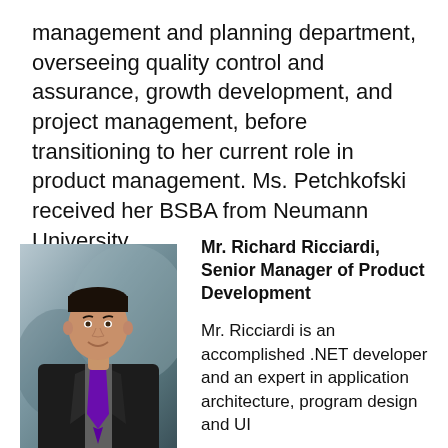management and planning department, overseeing quality control and assurance, growth development, and project management, before transitioning to her current role in product management. Ms. Petchkofski received her BSBA from Neumann University.
[Figure (photo): Professional headshot of Mr. Richard Ricciardi, a man in a dark suit with a purple tie, against a gray background]
Mr. Richard Ricciardi, Senior Manager of Product Development
Mr. Ricciardi is an accomplished .NET developer and an expert in application architecture, program design and UI